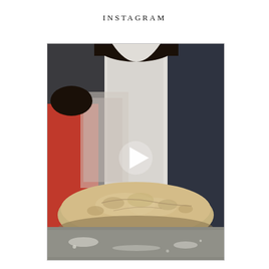INSTAGRAM
[Figure (photo): A person in a white t-shirt and dark cardigan kneading bread dough on a floured surface. Another person in a red outfit is visible in the background, slightly blurred. A white play button triangle overlay is visible in the center of the image, indicating it is a video thumbnail. The bread dough is shaped into a large loaf on a metal baking sheet dusted with flour.]